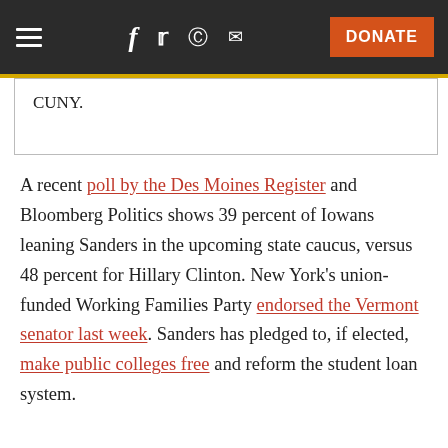Navigation bar with hamburger menu, social icons (Facebook, Twitter, Reddit, Email), and DONATE button
CUNY.
A recent poll by the Des Moines Register and Bloomberg Politics shows 39 percent of Iowans leaning Sanders in the upcoming state caucus, versus 48 percent for Hillary Clinton. New York's union-funded Working Families Party endorsed the Vermont senator last week. Sanders has pledged to, if elected, make public colleges free and reform the student loan system.